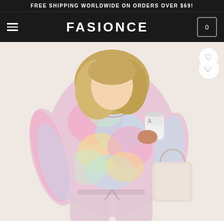FREE SHIPPING WORLDWIDE ON ORDERS OVER $69!
FASIONCE
[Figure (photo): Woman wearing a pastel tie-dye two-piece lounge set (long-sleeve top and drawstring pants), holding a cup and a beige tote bag, photographed from a mirror selfie perspective. Background is light beige.]